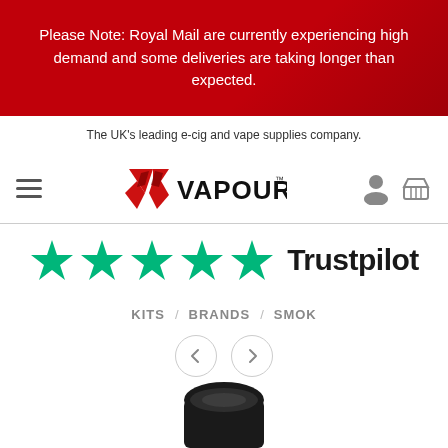Please Note: Royal Mail are currently experiencing high demand and some deliveries are taking longer than expected.
The UK's leading e-cig and vape supplies company.
[Figure (logo): Vapour logo with red V-shaped graphic and VAPOUR text in bold black with TM mark]
[Figure (infographic): Five green Trustpilot stars followed by 'Trustpilot' text in dark font]
KITS / BRANDS / SMOK
[Figure (other): Navigation left and right arrow buttons (previous/next)]
[Figure (photo): Partial top view of a black SMOK vape device]